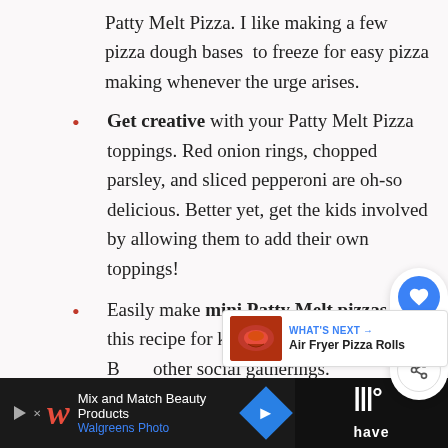Patty Melt Pizza. I like making a few pizza dough bases to freeze for easy pizza making whenever the urge arises.
Get creative with your Patty Melt Pizza toppings. Red onion rings, chopped parsley, and sliced pepperoni are oh-so delicious. Better yet, get the kids involved by allowing them to add their own toppings!
Easily make mini Patty Melt pizzas from this recipe for kids parties, the Super B... other social gatherings.
[Figure (screenshot): Social sharing widget with heart/like button showing count of 1 and a share button]
[Figure (screenshot): What's Next widget showing Air Fryer Pizza Rolls with thumbnail image]
[Figure (advertisement): Walgreens Photo advertisement banner: Mix and Match Beauty Products]